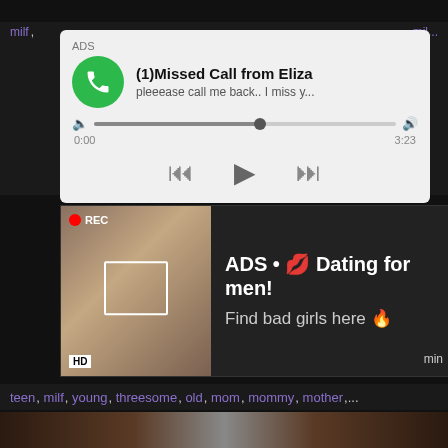[Figure (screenshot): Audio advertisement popup: ADS label, (1)Missed Call from Eliza, subtitle 'pleeease call me back.. I miss y...', green phone icon, audio progress bar with timestamp 0:00 to 3:23, playback controls (rewind, play, fast-forward)]
milf, mil...
[Figure (screenshot): Dating advertisement overlay on dark background showing a woman taking a selfie with REC indicator, focus box, HD badge. Text reads: ADS • 💋 Dating for men! Find bad girls here 🔥, with 'min' label]
teen, milf, young, threesome, old, mom, mommy, mother,...
[Figure (photo): Bottom strip showing partial video thumbnail of two people]